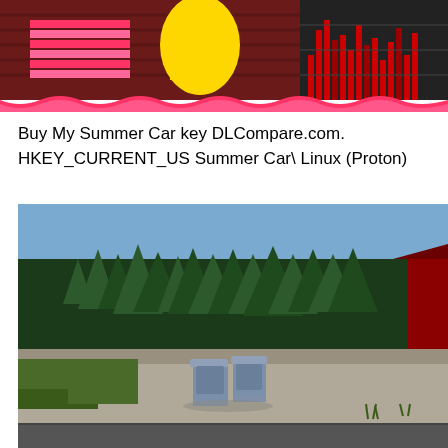[Figure (screenshot): Top portion of a game screenshot showing colorful pixelated/glitchy imagery with dark red wooden panel background, yellow shapes, pink/red striped patterns, and a bar chart-like display on the right side with red and green vertical bars against a dark background.]
Buy My Summer Car key DLCompare.com. HKEY_CURRENT_US Summer Car\ Linux (Proton)
[Figure (screenshot): A 3D game environment screenshot showing an outdoor scene with dense green pine trees in the background under a blue sky, a gravel/dirt parking area in the foreground, two blue/grey trash bins or containers sitting on the ground, some grass patches, and the edge of a red roof structure on the right side.]